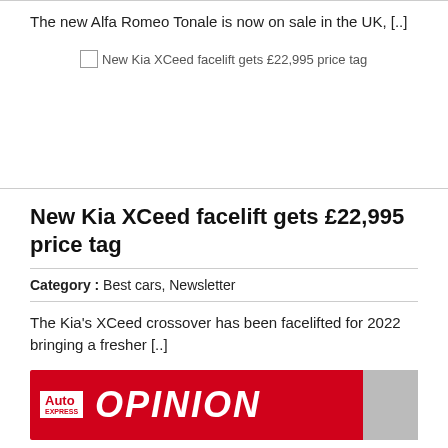The new Alfa Romeo Tonale is now on sale in the UK, [..]
[Figure (photo): New Kia XCeed facelift gets £22,995 price tag - broken image placeholder with alt text]
New Kia XCeed facelift gets £22,995 price tag
Category : Best cars, Newsletter
The Kia's XCeed crossover has been facelifted for 2022 bringing a fresher [..]
[Figure (screenshot): Auto Express OPINION banner with logo and person photo]